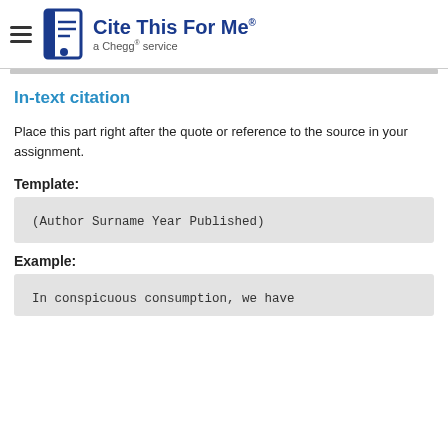Cite This For Me® a Chegg® service
In-text citation
Place this part right after the quote or reference to the source in your assignment.
Template:
(Author Surname Year Published)
Example:
In conspicuous consumption, we have